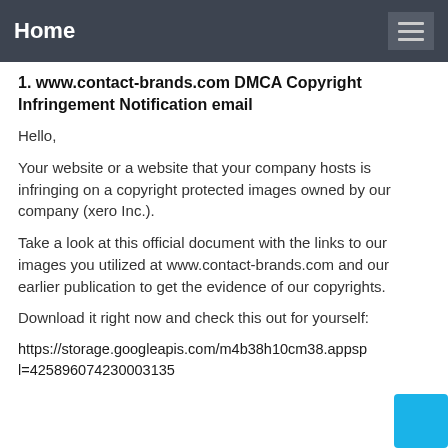Home
1. www.contact-brands.com DMCA Copyright Infringement Notification email
Hello,
Your website or a website that your company hosts is infringing on a copyright protected images owned by our company (xero Inc.).
Take a look at this official document with the links to our images you utilized at www.contact-brands.com and our earlier publication to get the evidence of our copyrights.
Download it right now and check this out for yourself:
https://storage.googleapis.com/m4b38h10cm38.appspot.com/l=425896074230003135